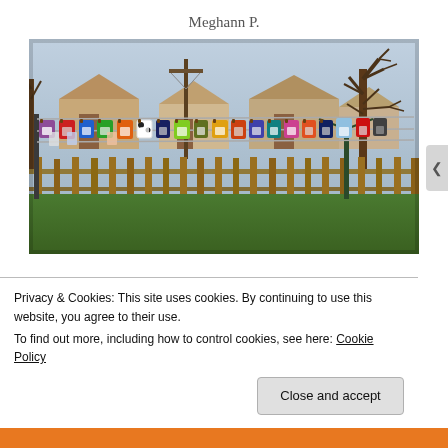Meghann P.
[Figure (photo): Colorful cloth diapers hanging on clotheslines in a backyard with a wooden fence, green grass, bare trees, and houses in the background.]
Privacy & Cookies: This site uses cookies. By continuing to use this website, you agree to their use.
To find out more, including how to control cookies, see here: Cookie Policy
Close and accept